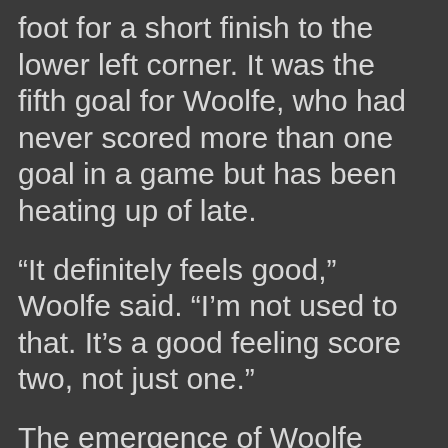Woolfe moved the ball onto his left foot for a short finish to the lower left corner. It was the fifth goal for Woolfe, who had never scored more than one goal in a game but has been heating up of late.
“It definitely feels good,” Woolfe said. “I’m not used to that. It’s a good feeling score two, not just one.”
The emergence of Woolfe makes the Dukes even more dangerous.
“That’s good,” Musial said. “We have a lot of dangerous players, and it’s good to know that Woolfe is one of them too. Because he’s a guy that wants to score.”